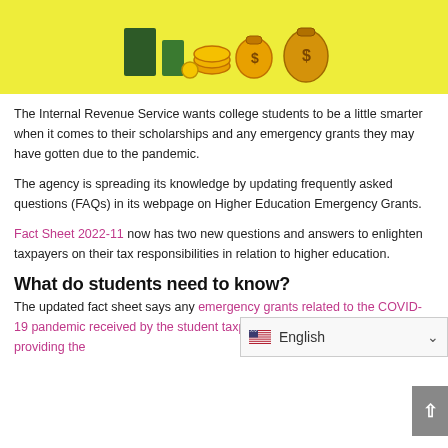[Figure (illustration): Decorative illustration of money, coins, and bags on a yellow background]
The Internal Revenue Service wants college students to be a little smarter when it comes to their scholarships and any emergency grants they may have gotten due to the pandemic.
The agency is spreading its knowledge by updating frequently asked questions (FAQs) in its webpage on Higher Education Emergency Grants.
Fact Sheet 2022-11 now has two new questions and answers to enlighten taxpayers on their tax responsibilities in relation to higher education.
What do students need to know?
The updated fact sheet says any emergency grants related to the COVID-19 pandemic received by the student taxpayer from the organization providing the